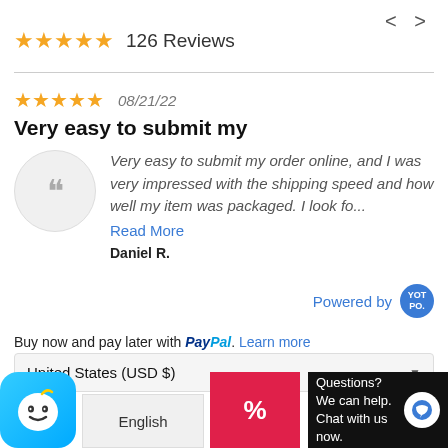< >
★★★★★ 126 Reviews
★★★★★ 08/21/22
Very easy to submit my
Very easy to submit my order online, and I was very impressed with the shipping speed and how well my item was packaged. I look fo...
Read More
Daniel R.
Powered by [YOTPO]
Buy now and pay later with PayPal. Learn more
United States (USD $)
[Figure (logo): Waze app icon - blue background with ghost face emoji]
English
[Figure (other): Red promo button with % symbol]
Questions? We can help. Chat with us now.